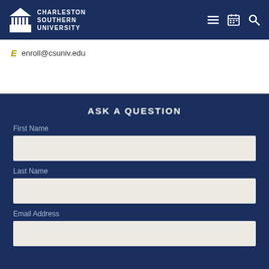Charleston Southern University
E enroll@csuniv.edu
ASK A QUESTION
First Name
Last Name
Email Address